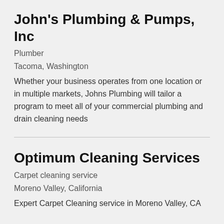John's Plumbing & Pumps, Inc
Plumber
Tacoma, Washington
Whether your business operates from one location or in multiple markets, Johns Plumbing will tailor a program to meet all of your commercial plumbing and drain cleaning needs
Optimum Cleaning Services
Carpet cleaning service
Moreno Valley, California
Expert Carpet Cleaning service in Moreno Valley, CA